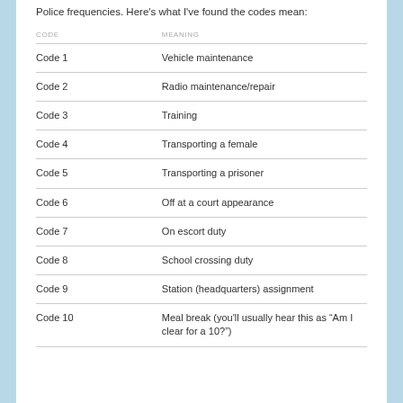Police frequencies. Here's what I've found the codes mean:
| CODE | MEANING |
| --- | --- |
| Code 1 | Vehicle maintenance |
| Code 2 | Radio maintenance/repair |
| Code 3 | Training |
| Code 4 | Transporting a female |
| Code 5 | Transporting a prisoner |
| Code 6 | Off at a court appearance |
| Code 7 | On escort duty |
| Code 8 | School crossing duty |
| Code 9 | Station (headquarters) assignment |
| Code 10 | Meal break (you'll usually hear this as “Am I clear for a 10?”) |